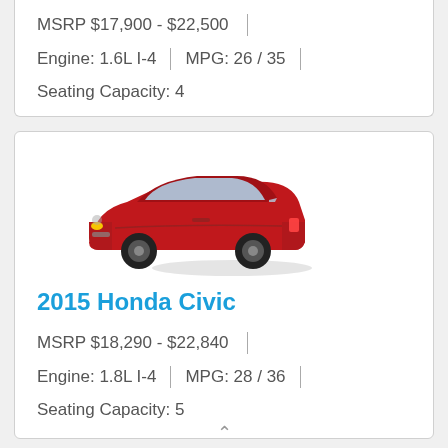MSRP $17,900 - $22,500
Engine: 1.6L I-4 | MPG: 26 / 35
Seating Capacity: 4
[Figure (photo): Red 2015 Honda Civic coupe viewed from front-left angle]
2015 Honda Civic
MSRP $18,290 - $22,840
Engine: 1.8L I-4 | MPG: 28 / 36
Seating Capacity: 5